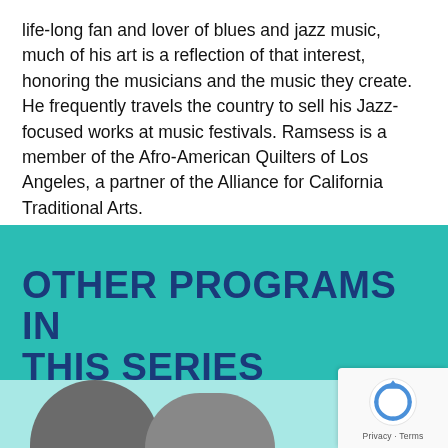life-long fan and lover of blues and jazz music, much of his art is a reflection of that interest, honoring the musicians and the music they create. He frequently travels the country to sell his Jazz-focused works at music festivals. Ramsess is a member of the Afro-American Quilters of Los Angeles, a partner of the Alliance for California Traditional Arts.
OTHER PROGRAMS IN THIS SERIES
[Figure (photo): Preview strip showing people at bottom of teal section, partially visible]